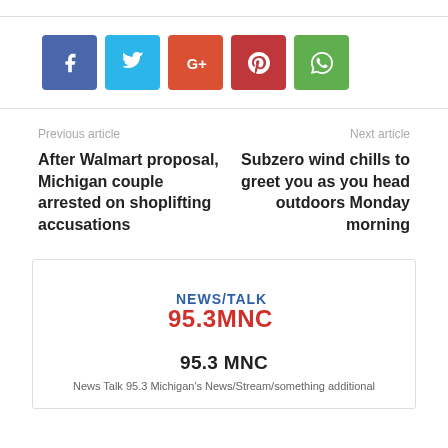[Figure (other): Social share buttons: Facebook (blue), Twitter (light blue), Google+ (orange-red), Pinterest (red), WhatsApp (green)]
Previous article
After Walmart proposal, Michigan couple arrested on shoplifting accusations
Next article
Subzero wind chills to greet you as you head outdoors Monday morning
[Figure (logo): NEWS/TALK 95.3 MNC logo]
95.3 MNC
News Talk 95.3 Michigan's News/Stream/something additional